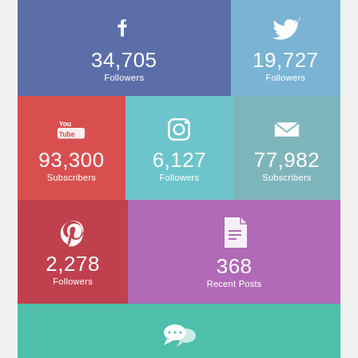[Figure (infographic): Social media stats infographic showing follower/subscriber counts across Facebook (34,705 Followers), Twitter (19,727 Followers), YouTube (93,300 Subscribers), Instagram (6,127 Followers), Email (77,982 Subscribers), Pinterest (2,278 Followers), Blog (368 Recent Posts), Comments (122 Comments)]